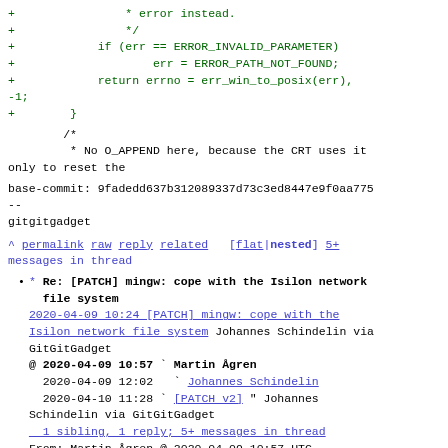+                * error instead.
+                */
+            if (err == ERROR_INVALID_PARAMETER)
+                    err = ERROR_PATH_NOT_FOUND;
+            return errno = err_win_to_posix(err),
-1;
+        }
/*
    * No O_APPEND here, because the CRT uses it only to reset the
base-commit: 9fadedd637b312089337d73c3ed8447e9f0aa775
--
gitgitgadget
^ permalink raw reply related  [flat|nested] 5+ messages in thread
* Re: [PATCH] mingw: cope with the Isilon network file system
2020-04-09 10:24 [PATCH] mingw: cope with the Isilon network file system Johannes Schindelin via GitGitGadget
@ 2020-04-09 10:57 ` Martin Ågren
  2020-04-09 12:02   ` Johannes Schindelin
  2020-04-10 11:28 ` [PATCH v2] " Johannes Schindelin via GitGitGadget
  1 sibling, 1 reply; 5+ messages in thread
From: Martin Ågren @ 2020-04-09 10:57 UTC